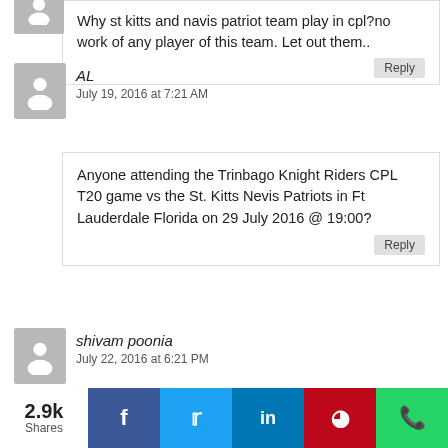Why st kitts and navis patriot team play in cpl?no work of any player of this team. Let out them..
Reply
AL
July 19, 2016 at 7:21 AM
Anyone attending the Trinbago Knight Riders CPL T20 game vs the St. Kitts Nevis Patriots in Ft Lauderdale Florida on 29 July 2016 @ 19:00?
Reply
shivam poonia
July 22, 2016 at 6:21 PM
i love chris gayle this year s cpl
2.9k Shares